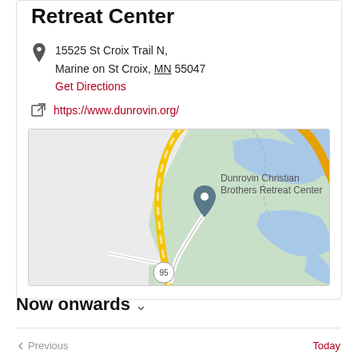Retreat Center
15525 St Croix Trail N, Marine on St Croix, MN 55047
Get Directions
https://www.dunrovin.org/
[Figure (map): Google map showing Dunrovin Christian Brothers Retreat Center at 15525 St Croix Trail N, Marine on St Croix, MN. Map shows road 95, a yellow highway, green terrain areas, and blue water features.]
Now onwards
Previous  Today